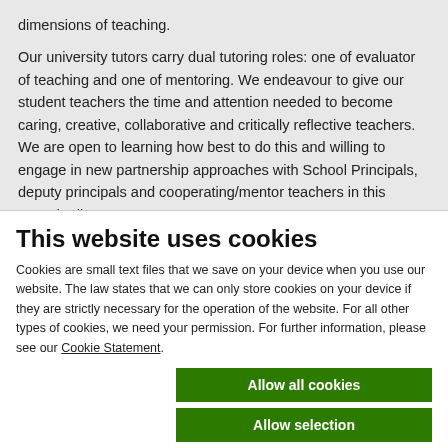dimensions of teaching.
Our university tutors carry dual tutoring roles: one of evaluator of teaching and one of mentoring. We endeavour to give our student teachers the time and attention needed to become caring, creative, collaborative and critically reflective teachers. We are open to learning how best to do this and willing to engage in new partnership approaches with School Principals, deputy principals and cooperating/mentor teachers in this regard. All our
This website uses cookies
Cookies are small text files that we save on your device when you use our website. The law states that we can only store cookies on your device if they are strictly necessary for the operation of the website. For all other types of cookies, we need your permission. For further information, please see our Cookie Statement.
Allow all cookies
Allow selection
Use necessary cookies only
| Necessary | Preferences | Statistics | Show details |
| --- | --- | --- | --- |
| ✓ (checked) |  |  | Show details ∨ |
| Marketing |  |  |  |